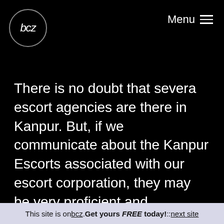[Figure (logo): bcz logo: circle with italic text 'bcz' inside]
Menu ≡
There is no doubt that severa escort agencies are there in Kanpur. But, if we communicate about the Kanpur Escorts associated with our escort corporation, they may be very proficient and extraordinarily rated. We possess a super series of escorts who are very expert to have sufficient enjoy in presenting powerful escort offerings to Macho and lusty guys like you. If you search for one such name female who can abide by means
This site is on bcz. Get yours FREE today! :: next site